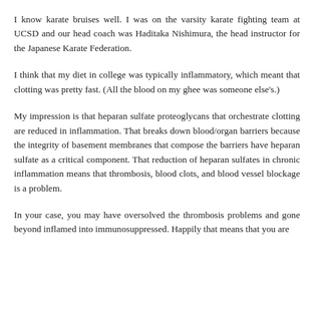I know karate bruises well. I was on the varsity karate fighting team at UCSD and our head coach was Haditaka Nishimura, the head instructor for the Japanese Karate Federation.
I think that my diet in college was typically inflammatory, which meant that clotting was pretty fast. (All the blood on my ghee was someone else's.)
My impression is that heparan sulfate proteoglycans that orchestrate clotting are reduced in inflammation. That breaks down blood/organ barriers because the integrity of basement membranes that compose the barriers have heparan sulfate as a critical component. That reduction of heparan sulfates in chronic inflammation means that thrombosis, blood clots, and blood vessel blockage is a problem.
In your case, you may have oversolved the thrombosis problems and gone beyond inflamed into immunosuppressed. Happily that means that you are